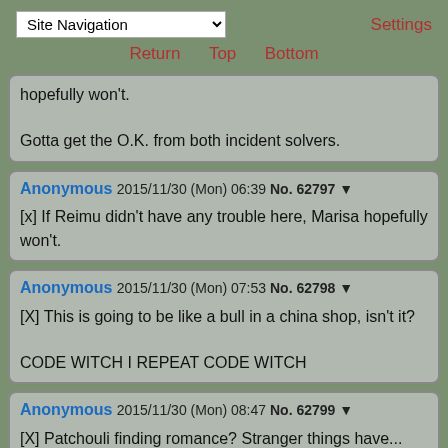Site Navigation | Settings | Return | Top | Bottom
hopefully won't.

Gotta get the O.K. from both incident solvers.
Anonymous 2015/11/30 (Mon) 06:39 No. 62797 ▼
[x] If Reimu didn't have any trouble here, Marisa hopefully won't.
Anonymous 2015/11/30 (Mon) 07:53 No. 62798 ▼
[X] This is going to be like a bull in a china shop, isn't it?

CODE WITCH I REPEAT CODE WITCH
Anonymous 2015/11/30 (Mon) 08:47 No. 62799 ▼
[X] Patchouli finding romance? Stranger things have...